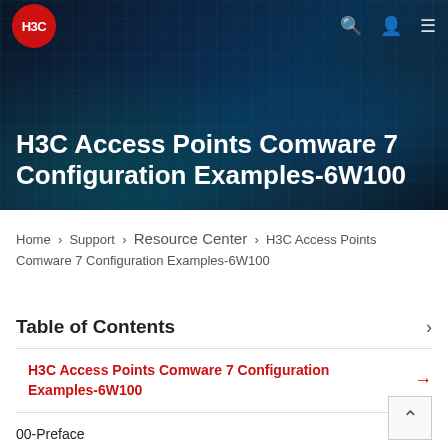[Figure (screenshot): H3C website header banner with dark blue/teal background showing digital network pattern, H3C logo (red circle), navigation icons for search, user, and menu on top right]
H3C Access Points Comware 7 Configuration Examples-6W100
Home › Support › Resource Center › H3C Access Points Comware 7 Configuration Examples-6W100
Table of Contents
H3C Access Points Comware 7 Configuration Examples-6W100
00-Preface